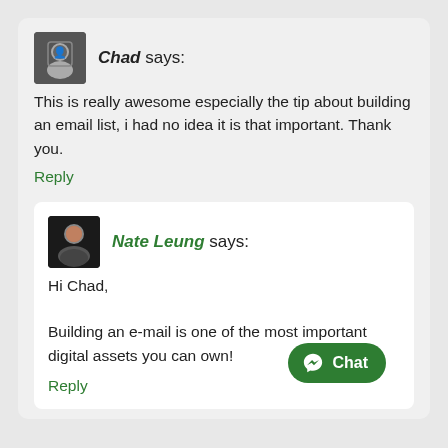Chad says: This is really awesome especially the tip about building an email list, i had no idea it is that important. Thank you.
Reply
Nate Leung says: Hi Chad, Building an e-mail is one of the most important digital assets you can own!
Reply
[Figure (other): Green Messenger chat button with chat icon]